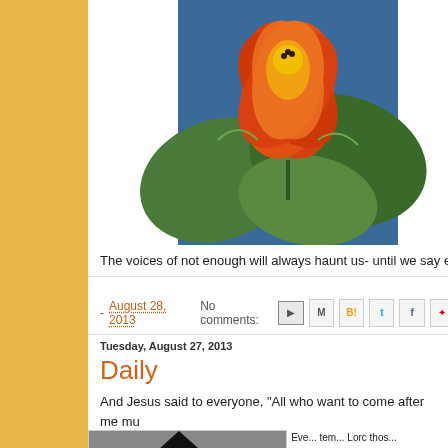[Figure (illustration): Colorful lotus flower painting with orange and yellow petals against blue background with green lily pads]
The voices of not enough will always haunt us- until we say enc...
- August 28, 2013   No comments:   [share icons]
Tuesday, August 27, 2013
Daily
And Jesus said to everyone, "All who want to come after me mu... their cross daily, and follow me." Luke 9:23 CEB
[Figure (photo): Black and white photograph of what appears to be a feather or pen nib]
Eve... tem... Lorc thos...